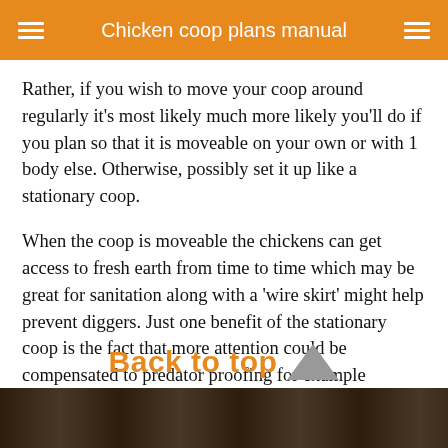Chicken coop plans manual
Rather, if you wish to move your coop around regularly it’s most likely much more likely you’ll do if you plan so that it is moveable on your own or with 1 body else. Otherwise, possibly set it up like a stationary coop.
When the coop is moveable the chickens can get access to fresh earth from time to time which may be great for sanitation along with a ‘wire skirt’ might help prevent diggers. Just one benefit of the stationary coop is the fact that more attention could be compensated to predator proofing for example digging lower wire or concrete etc that is clearly not necessarily possible having a mobile coop (a minimum of not if you would like so that it is easily moveable).
[Figure (photo): Photo strip at the bottom of the page showing chickens or coop]
Back to top